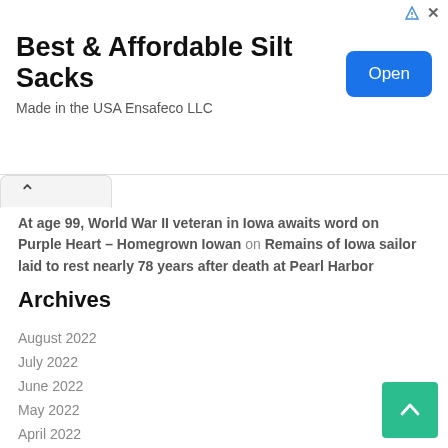[Figure (other): Advertisement banner: 'Best & Affordable Silt Sacks – Made in the USA Ensafeco LLC' with a blue 'Open' button, and ad icons (triangle and X) in top right corner.]
At age 99, World War II veteran in Iowa awaits word on Purple Heart – Homegrown Iowan on Remains of Iowa sailor laid to rest nearly 78 years after death at Pearl Harbor
Archives
August 2022
July 2022
June 2022
May 2022
April 2022
March 2022
February 2022
January 2022
December 2021
November 2021